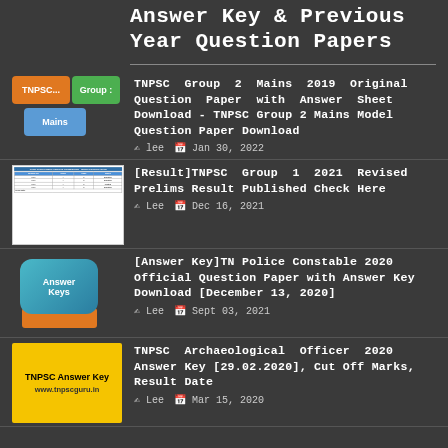Answer Key & Previous Year Question Papers
TNPSC Group 2 Mains 2019 Original Question Paper with Answer Sheet Download - TNPSC Group 2 Mains Model Question Paper Download
[Result]TNPSC Group 1 2021 Revised Prelims Result Published Check Here
[Answer Key]TN Police Constable 2020 Official Question Paper with Answer Key Download [December 13, 2020]
TNPSC Archaeological Officer 2020 Answer Key [29.02.2020], Cut Off Marks, Result Date